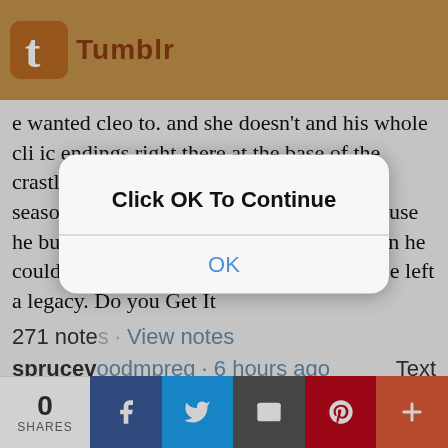Tumblr
e wanted cleo to. and she doesn't and his whole cli ic endings right there at the base of the crastle and it unlike most other builds that season or every season after survives. because he built it to keep them safe and even when he couldn't do that bc cleo was already dead he left a legacy. Do you Get It
271 notes · View notes
sprucewoodmpreg · 6 hours ago Text
[Figure (screenshot): iOS modal dialog with text 'Click OK To Continue' and an OK button in blue text]
crastle design makes me so sick and insane like building a replica of it gave me new diseases heretofore unknown. All of the windows are functional. Each one provides clear sightlines and they're on all sides. And they raze the trees so early on that they can in fa
0 SHARES · Facebook · Twitter · Email · Pinterest · More